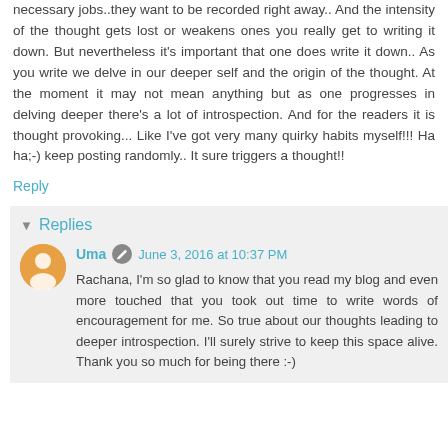necessary jobs..they want to be recorded right away.. And the intensity of the thought gets lost or weakens ones you really get to writing it down. But nevertheless it's important that one does write it down.. As you write we delve in our deeper self and the origin of the thought. At the moment it may not mean anything but as one progresses in delving deeper there's a lot of introspection. And for the readers it is thought provoking... Like I've got very many quirky habits myself!!! Ha ha;-) keep posting randomly.. It sure triggers a thought!!
Reply
Replies
Uma  June 3, 2016 at 10:37 PM
Rachana, I'm so glad to know that you read my blog and even more touched that you took out time to write words of encouragement for me. So true about our thoughts leading to deeper introspection. I'll surely strive to keep this space alive. Thank you so much for being there :-)